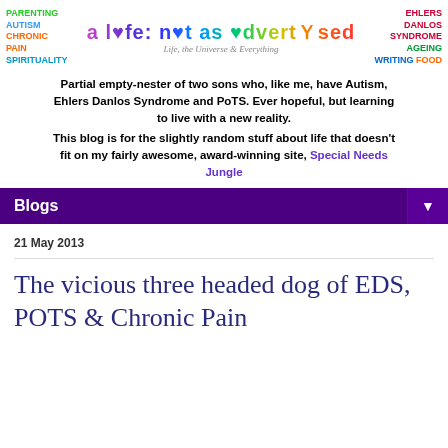[Figure (logo): Blog header banner with colorful tags: PARENTING (green), AUTISM (blue), CHRONIC PAIN (orange), SPIRITUALITY (cyan) on left; large colorful logo text 'a life: not as advertised' in the center with subtitle 'Life, the Universe & Everything'; EHLERS DANLOS SYNDROME (red), AGEING (green), WRITING (blue), FOOD (orange) on right]
Partial empty-nester of two sons who, like me, have Autism, Ehlers Danlos Syndrome and PoTS. Ever hopeful, but learning to live with a new reality. This blog is for the slightly random stuff about life that doesn't fit on my fairly awesome, award-winning site, Special Needs Jungle
Blogs
21 May 2013
The vicious three headed dog of EDS, POTS & Chronic Pain